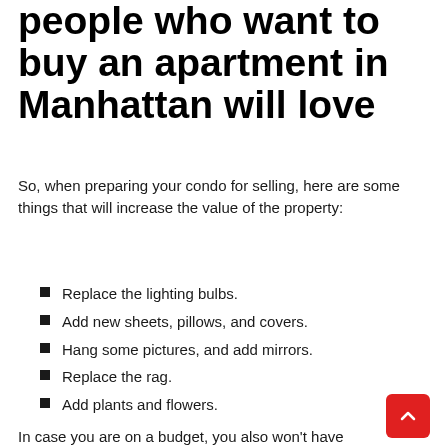people who want to buy an apartment in Manhattan will love
So, when preparing your condo for selling, here are some things that will increase the value of the property:
Replace the lighting bulbs.
Add new sheets, pillows, and covers.
Hang some pictures, and add mirrors.
Replace the rag.
Add plants and flowers.
In case you are on a budget, you also won't have